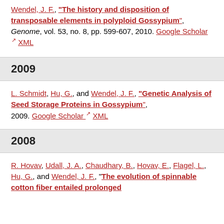Wendel, J. F., "The history and disposition of transposable elements in polyploid Gossypium", Genome, vol. 53, no. 8, pp. 599-607, 2010. Google Scholar XML
2009
L. Schmidt, Hu, G., and Wendel, J. F., "Genetic Analysis of Seed Storage Proteins in Gossypium", 2009. Google Scholar XML
2008
R. Hovav, Udall, J. A., Chaudhary, B., Hovav, E., Flagel, L., Hu, G., and Wendel, J. F., "The evolution of spinnable cotton fiber entailed prolonged